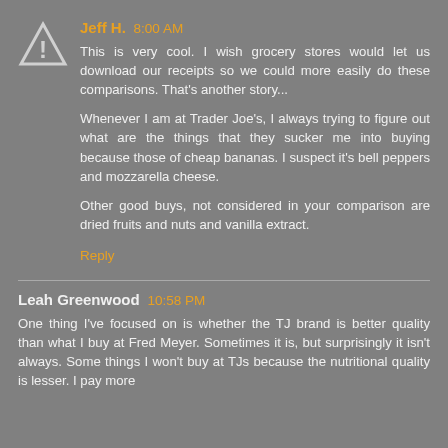Jeff H. 8:00 AM
This is very cool. I wish grocery stores would let us download our receipts so we could more easily do these comparisons. That's another story...

Whenever I am at Trader Joe's, I always trying to figure out what are the things that they sucker me into buying because those of cheap bananas. I suspect it's bell peppers and mozzarella cheese.

Other good buys, not considered in your comparison are dried fruits and nuts and vanilla extract.
Reply
Leah Greenwood 10:58 PM
One thing I've focused on is whether the TJ brand is better quality than what I buy at Fred Meyer. Sometimes it is, but surprisingly it isn't always. Some things I won't buy at TJs because the nutritional quality is lesser. I pay more